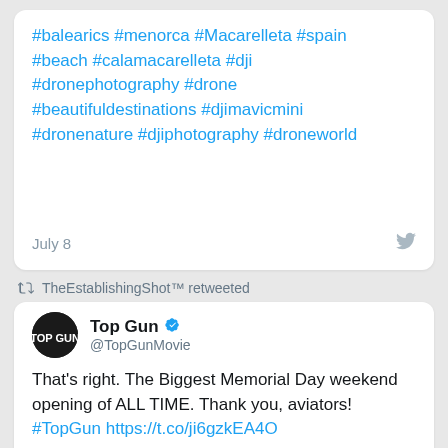#balearics #menorca #Macarelleta #spain #beach #calamacarelleta #dji #dronephotography #drone #beautifuldestinations #djimavicmini #dronenature #djiphotography #droneworld
July 8
TheEstablishingShot™ retweeted
Top Gun @TopGunMovie
That's right. The Biggest Memorial Day weekend opening of ALL TIME. Thank you, aviators! #TopGun https://t.co/ji6gzkEA4O
[Figure (screenshot): Media preview showing AUDIENCE SCORE and CINEMA SCORE labels with a person celebrating]